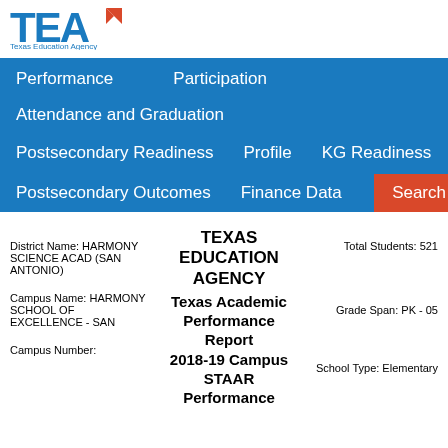[Figure (logo): Texas Education Agency (TEA) logo with blue TEA letters and orange graduation cap icon, with 'Texas Education Agency' text below]
Performance   Participation
Attendance and Graduation
Postsecondary Readiness   Profile   KG Readiness
Postsecondary Outcomes   Finance Data   Search
TEXAS EDUCATION AGENCY
Texas Academic Performance Report
2018-19 Campus STAAR Performance
District Name: HARMONY SCIENCE ACAD (SAN ANTONIO)
Total Students: 521
Campus Name: HARMONY SCHOOL OF EXCELLENCE - SAN
Grade Span: PK - 05
Campus Number:
School Type: Elementary